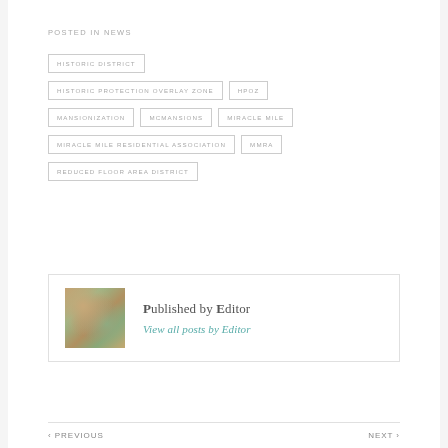POSTED IN NEWS
HISTORIC DISTRICT
HISTORIC PROTECTION OVERLAY ZONE
HPOZ
MANSIONIZATION
MCMANSIONS
MIRACLE MILE
MIRACLE MILE RESIDENTIAL ASSOCIATION
MMRA
REDUCED FLOOR AREA DISTRICT
Published by Editor
View all posts by Editor
‹ PREVIOUS    NEXT ›